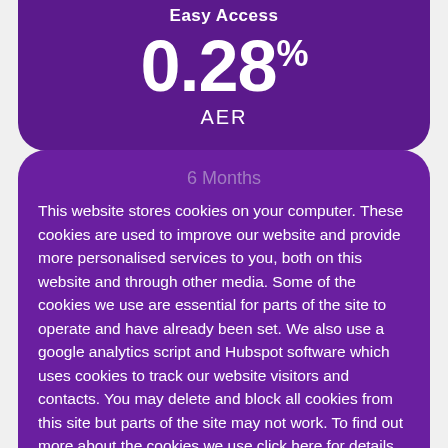Easy Access
0.28%
AER
6 Months
This website stores cookies on your computer. These cookies are used to improve our website and provide more personalised services to you, both on this website and through other media. Some of the cookies we use are essential for parts of the site to operate and have already been set. We also use a google analytics script and Hubspot software which uses cookies to track our website visitors and contacts. You may delete and block all cookies from this site but parts of the site may not work. To find out more about the cookies we use click here for details of our privacy policy. Learn more
Got it!
Approximate rates currently available based on DCM